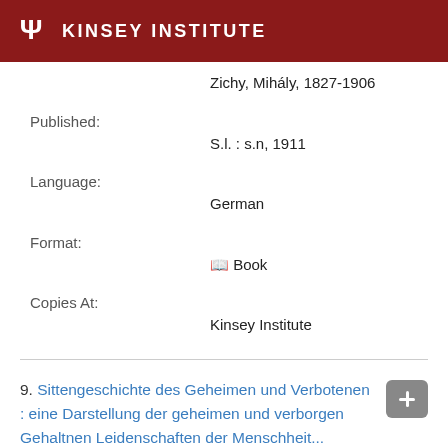KINSEY INSTITUTE
Zichy, Mihály, 1827-1906
Published:
S.l. : s.n, 1911
Language:
German
Format:
Book
Copies At:
Kinsey Institute
9. Sittengeschichte des Geheimen und Verbotenen : eine Darstellung der geheimen und verborgen Gehaltnen Leidenschaften der Menschheit...